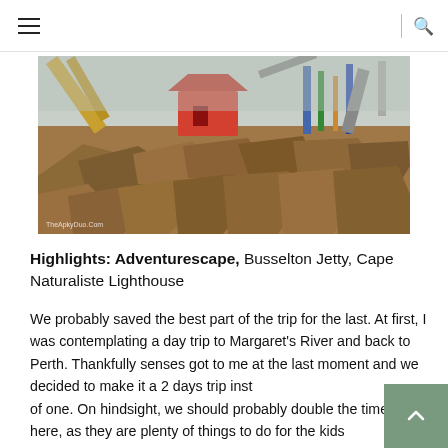Navigation menu and search icon
[Figure (photo): Outdoor photo of large rocky terrain with industrial machinery and adventure park structures in the background, watermarked TheApkyDuo.Com]
Highlights: Adventurescape, Busselton Jetty, Cape Naturaliste Lighthouse
We probably saved the best part of the trip for the last. At first, I was contemplating a day trip to Margaret's River and back to Perth. Thankfully senses got to me at the last moment and we decided to make it a 2 days trip instead of one. On hindsight, we should probably double the time spent here, as they are plenty of things to do for the kids